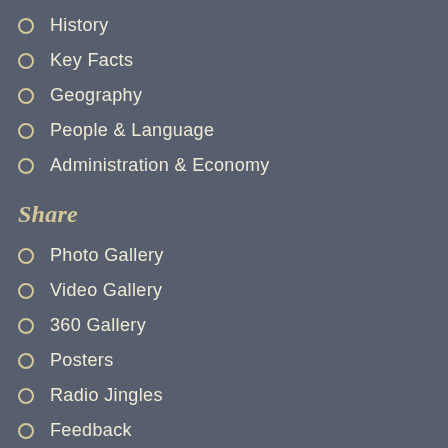History
Key Facts
Geography
People & Language
Administration & Economy
Share
Photo Gallery
Video Gallery
360 Gallery
Posters
Radio Jingles
Feedback
Policies
Terms & Conditions